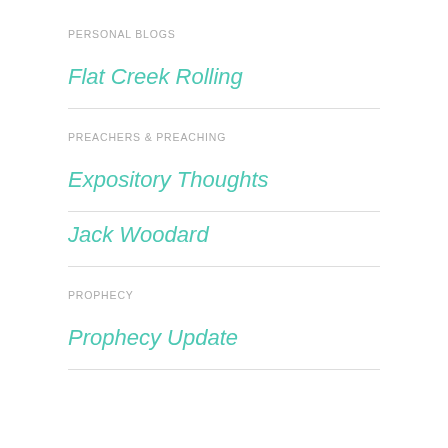PERSONAL BLOGS
Flat Creek Rolling
PREACHERS & PREACHING
Expository Thoughts
Jack Woodard
PROPHECY
Prophecy Update